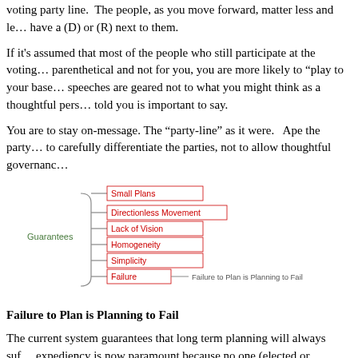voting party line. The people, as you move forward, matter less and less unless they have a (D) or (R) next to them.
If it's assumed that most of the people who still participate at the voting booth have a parenthetical and not for you, you are more likely to "play to your base" and your speeches are geared not to what you might think as a thoughtful person but what you are told you is important to say.
You are to stay on-message. The "party-line" as it were. Ape the party position. Not to carefully differentiate the parties, not to allow thoughtful governance.
[Figure (other): Mind map diagram with 'Guarantees' on the left connected by a curved bracket to a list of items: Small Plans, Directionless Movement, Lack of Vision, Homogeneity, Simplicity, Failure — with 'Failure to Plan is Planning to Fail' as a sub-label next to Failure.]
Failure to Plan is Planning to Fail
The current system guarantees that long term planning will always suffer. Short term expediency is now paramount because no one (elected or otherwise) has the mandate that would come with a long-term vision.
This directionless movement means that our infrastructure, both social and physical, is maintained via expediency. The 800 pound gorilla in our public system...